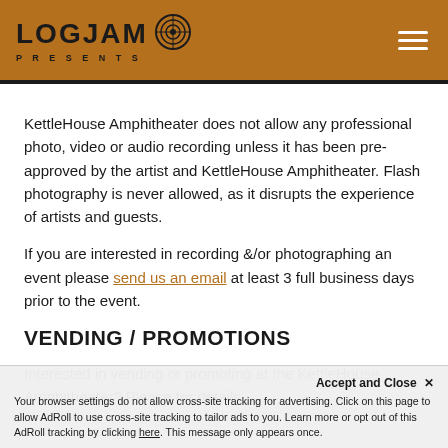LOGJAM PRESENTS [logo with hamburger menu]
KettleHouse Amphitheater does not allow any professional photo, video or audio recording unless it has been pre-approved by the artist and KettleHouse Amphitheater. Flash photography is never allowed, as it disrupts the experience of artists and guests.
If you are interested in recording &/or photographing an event please send us an email at least 3 full business days prior to the event.
VENDING / PROMOTIONS
Interested in vending or promoting at the KettleHouse Amphitheater? Please ... for details. Unauthorized vending and promotions are strictly prohibited on...
Accept and Close ✕ Your browser settings do not allow cross-site tracking for advertising. Click on this page to allow AdRoll to use cross-site tracking to tailor ads to you. Learn more or opt out of this AdRoll tracking by clicking here. This message only appears once.